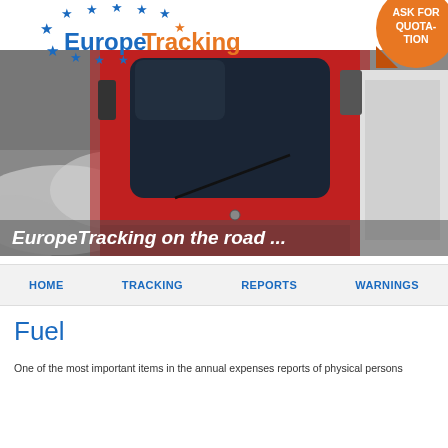[Figure (logo): EuropeTracking logo with EU blue stars on left and 'Europe' in blue, 'Tracking' in orange bold text]
[Figure (illustration): Orange sticker badge with white bold text 'ASK FOR QUOTATION' with a curled corner effect, top right corner]
[Figure (photo): Close-up photo of a red truck cab with dark windshield, cloudy sky background]
EuropeTracking on the road ...
HOME    TRACKING    REPORTS    WARNINGS
Fuel
One of the most important items in the annual expenses reports of physical persons